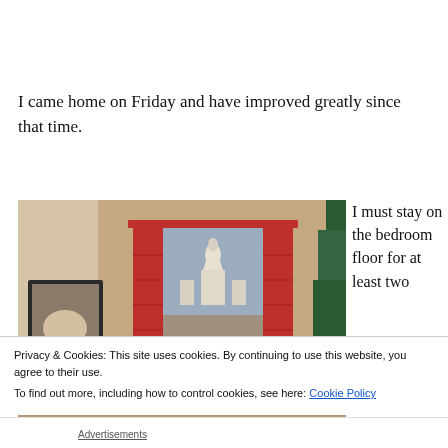I came home on Friday and have improved greatly since that time.
[Figure (photo): Interior room photo showing a wall with a framed artwork depicting a European church/cathedral (possibly Sacré-Cœur), flanked by red shutters. A decorative framed picture is visible on the left wall, and a Christmas tree is partially visible on the right.]
I must stay on the bedroom floor for at least two
Privacy & Cookies: This site uses cookies. By continuing to use this website, you agree to their use.
To find out more, including how to control cookies, see here: Cookie Policy
Close and accept
Advertisements